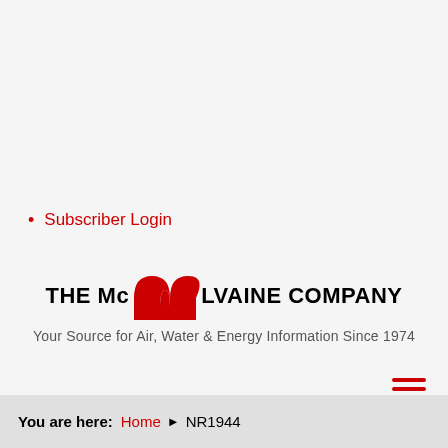Subscriber Login
[Figure (logo): The McIlvaine Company logo — red stylized letter M above the text 'THE McILVAINE COMPANY']
Your Source for Air, Water & Energy Information Since 1974
You are here: Home ▶ NR1944